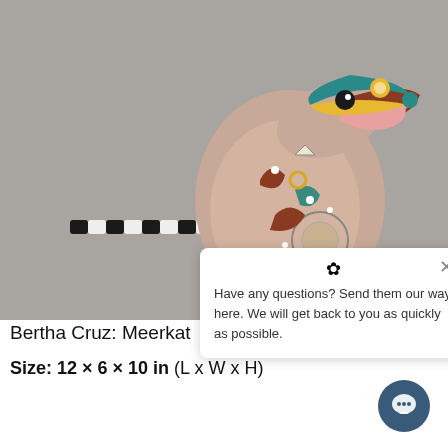[Figure (photo): A colorfully painted ceramic meerkat sculpture with intricate folk art patterns in teal, red, brown, gold, and white on a gray background. The figure has a long black-and-white striped tail extending to the left.]
Have any questions? Send them our way here. We will get back to you as quickly as possible.
Bertha Cruz: Meerkat
Size: 12 × 6 × 10 in (L x W x H)